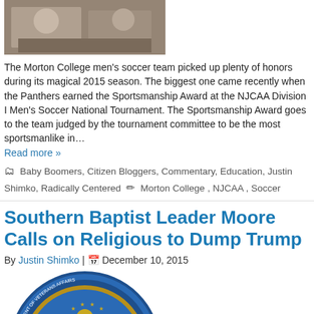[Figure (photo): Photo of Morton College men's soccer team members]
The Morton College men's soccer team picked up plenty of honors during its magical 2015 season. The biggest one came recently when the Panthers earned the Sportsmanship Award at the NJCAA Division I Men's Soccer National Tournament. The Sportsmanship Award goes to the team judged by the tournament committee to be the most sportsmanlike in…
Read more »
🗂 Baby Boomers, Citizen Bloggers, Commentary, Education, Justin Shimko, Radically Centered ✏ Morton College , NJCAA , Soccer
Southern Baptist Leader Moore Calls on Religious to Dump Trump
By Justin Shimko | 📅 December 10, 2015
[Figure (photo): Department of Veterans Affairs seal/logo]